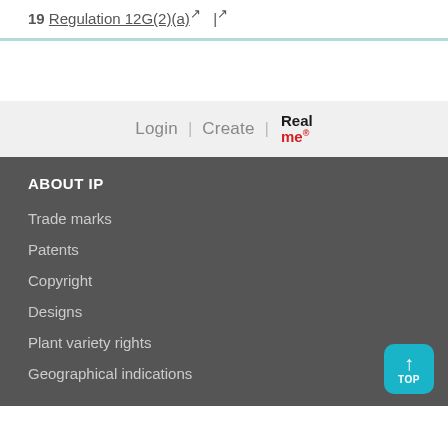19 Regulation 12G(2)(a) ↗ | ↗
Login | Create | RealMe®
ABOUT IP
Trade marks
Patents
Copyright
Designs
Plant variety rights
Geographical indications